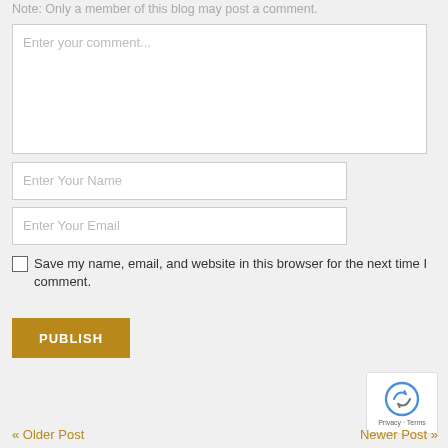Note: Only a member of this blog may post a comment.
[Figure (screenshot): Comment text area input box with placeholder text 'Enter your comment...']
[Figure (screenshot): Name input field with placeholder 'Enter Your Name']
[Figure (screenshot): Email input field with placeholder 'Enter Your Email']
Save my name, email, and website in this browser for the next time I comment.
[Figure (screenshot): PUBLISH button in golden/amber color]
[Figure (screenshot): reCAPTCHA badge with arrow icon and Privacy · Terms text]
« Older Post
Newer Post »